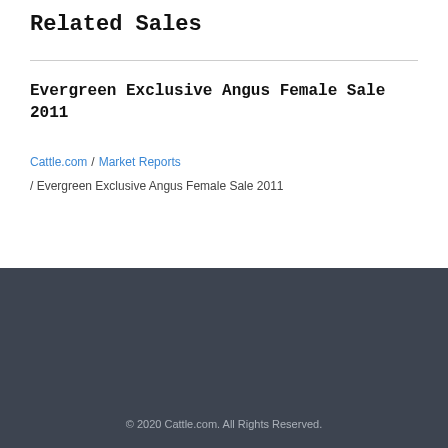Related Sales
Evergreen Exclusive Angus Female Sale 2011
Cattle.com / Market Reports / Evergreen Exclusive Angus Female Sale 2011
© 2020 Cattle.com. All Rights Reserved.